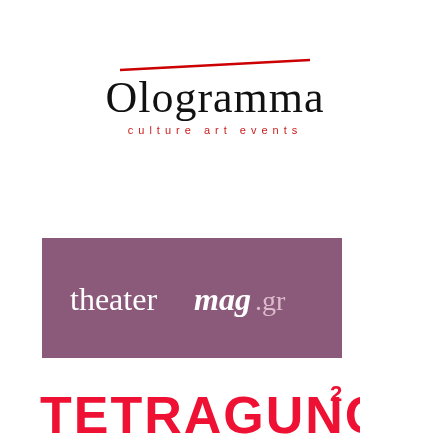[Figure (logo): Ologramma culture art events logo — black serif text 'Ologramma' with a red underline stroke, and red small-caps subtitle 'culture art events']
[Figure (logo): theatermag.gr logo — white text on mauve/purple rectangle background reading 'theater' in normal weight, 'mag' in bold italic, '.gr' in lighter weight]
[Figure (logo): TETRAGUNO.GR² logo — red decorative font all-caps text with superscript 2 after GR]